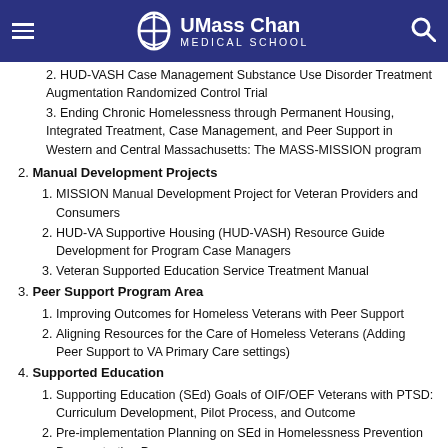UMass Chan Medical School
HUD-VASH Case Management Substance Use Disorder Treatment Augmentation Randomized Control Trial
Ending Chronic Homelessness through Permanent Housing, Integrated Treatment, Case Management, and Peer Support in Western and Central Massachusetts: The MASS-MISSION program
2. Manual Development Projects
MISSION Manual Development Project for Veteran Providers and Consumers
HUD-VA Supportive Housing (HUD-VASH) Resource Guide Development for Program Case Managers
Veteran Supported Education Service Treatment Manual
3. Peer Support Program Area
Improving Outcomes for Homeless Veterans with Peer Support
Aligning Resources for the Care of Homeless Veterans (Adding Peer Support to VA Primary Care settings)
4. Supported Education
Supporting Education (SEd) Goals of OIF/OEF Veterans with PTSD: Curriculum Development, Pilot Process, and Outcome
Pre-implementation Planning on SEd in Homelessness Prevention Demonstration Program